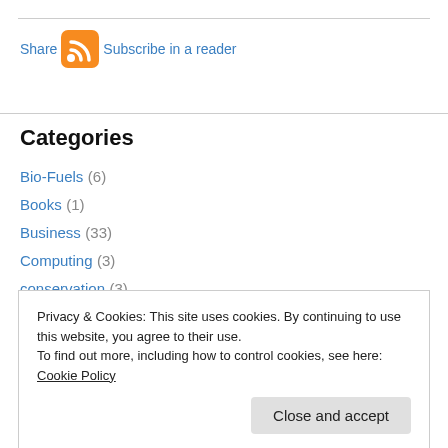[Figure (infographic): Share icon with orange RSS feed icon and 'Subscribe in a reader' link]
Categories
Bio-Fuels (6)
Books (1)
Business (33)
Computing (3)
conservation (3)
Energy (44)
Privacy & Cookies: This site uses cookies. By continuing to use this website, you agree to their use.
To find out more, including how to control cookies, see here: Cookie Policy
Close and accept
Green Building (17)